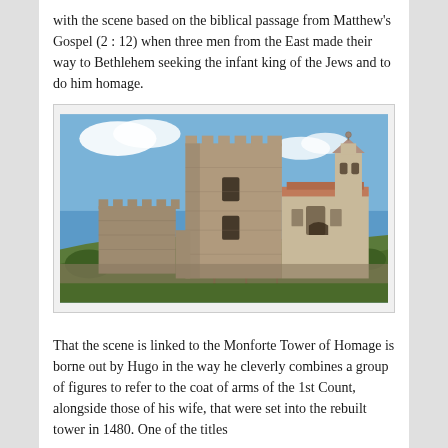with the scene based on the biblical passage from Matthew's Gospel (2 : 12) when three men from the East made their way to Bethlehem seeking the infant king of the Jews and to do him homage.
[Figure (photo): Photograph of the Monforte Tower of Homage, a large medieval stone keep with battlements, alongside a baroque church with a bell tower, set on a hill with trees and vegetation in the foreground, under a blue sky.]
That the scene is linked to the Monforte Tower of Homage is borne out by Hugo in the way he cleverly combines a group of figures to refer to the coat of arms of the 1st Count, alongside those of his wife, that were set into the rebuilt tower in 1480. One of the titles